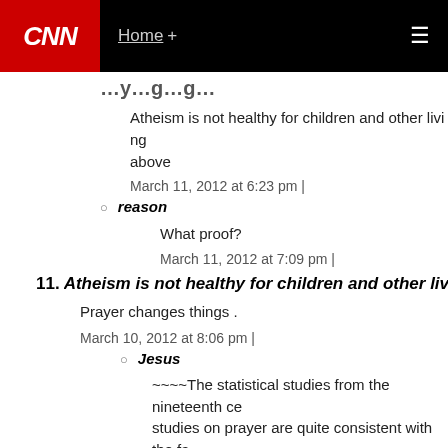CNN | Home +
Atheism is not healthy for children and other living things – above
March 11, 2012 at 6:23 pm |
reason
What proof?
March 11, 2012 at 7:09 pm |
11. Atheism is not healthy for children and other living things
Prayer changes things .
March 10, 2012 at 8:06 pm |
Jesus
~~~~The statistical studies from the nineteenth century studies on prayer are quite consistent with the fact a huge amount of time on a procedure that simply